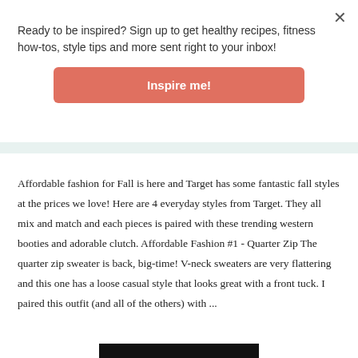Ready to be inspired? Sign up to get healthy recipes, fitness how-tos, style tips and more sent right to your inbox!
Inspire me!
Affordable fashion for Fall is here and Target has some fantastic fall styles at the prices we love! Here are 4 everyday styles from Target. They all mix and match and each pieces is paired with these trending western booties and adorable clutch. Affordable Fashion #1 - Quarter Zip The quarter zip sweater is back, big-time! V-neck sweaters are very flattering and this one has a loose casual style that looks great with a front tuck. I paired this outfit (and all of the others) with ...